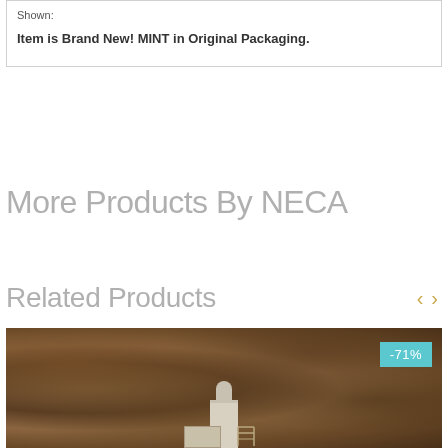Shown:
Item is Brand New! MINT in Original Packaging.
More Products By NECA
Related Products
[Figure (photo): Product photo of a collectible/figurine scene with a statue on a pedestal, a chair, and rocky background. Discount badge showing -71% in teal.]